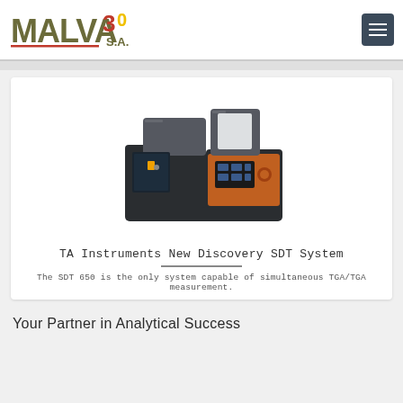MALVA 30 S.A. — navigation header with logo and menu button
[Figure (photo): TA Instruments New Discovery SDT System — a scientific analytical instrument (SDT 650) with dark chassis, orange front panel with touchscreen display, and autosampler/loader on top]
TA Instruments New Discovery SDT System
The SDT 650 is the only system capable of simultaneous TGA/TGA measurement.
Your Partner in Analytical Success